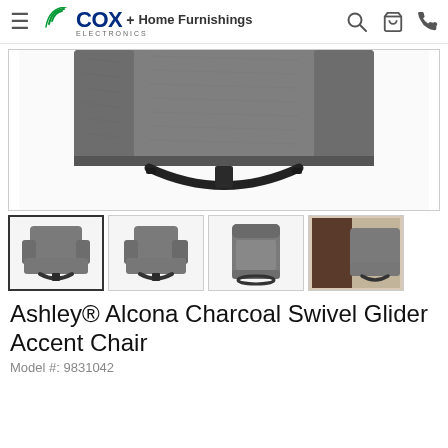COX Electronics + Home Furnishings
[Figure (photo): Close-up view of the bottom/base of a charcoal grey upholstered swivel glider chair, showing the dark curved metal base]
[Figure (photo): Thumbnail 1: Full front-side view of charcoal grey swivel glider accent chair (selected)]
[Figure (photo): Thumbnail 2: Side-angle view of charcoal grey swivel glider accent chair]
[Figure (photo): Thumbnail 3: Top-down/overhead view of charcoal grey swivel glider accent chair]
[Figure (photo): Thumbnail 4: Partial view of charcoal grey swivel glider accent chair in room setting]
Ashley® Alcona Charcoal Swivel Glider Accent Chair
Model #: 9831042